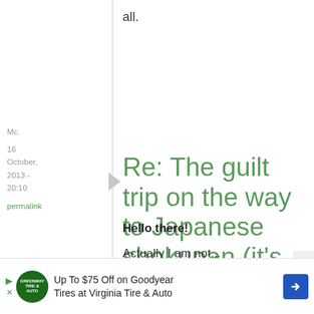all.
Mc.
16 October, 2013 - 20:10
permalink
Re: The guilt trip on the way to Japanese shokupan (it's ...
Hello there!
Actually I am not...
[Figure (infographic): Advertisement banner: Up To $75 Off on Goodyear Tires at Virginia Tire & Auto with logo and navigation arrow]